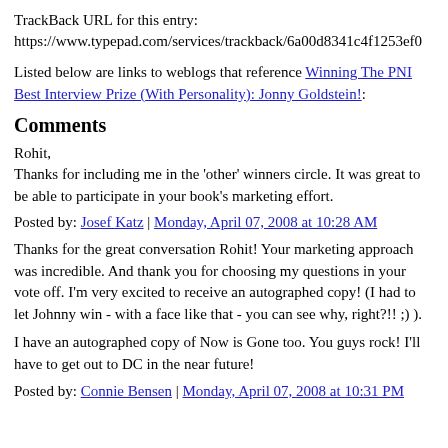TrackBack URL for this entry: https://www.typepad.com/services/trackback/6a00d8341c4f1253ef0
Listed below are links to weblogs that reference Winning The PNI Best Interview Prize (With Personality): Jonny Goldstein!:
Comments
Rohit,
Thanks for including me in the 'other' winners circle. It was great to be able to participate in your book's marketing effort.
Posted by: Josef Katz | Monday, April 07, 2008 at 10:28 AM
Thanks for the great conversation Rohit! Your marketing approach was incredible. And thank you for choosing my questions in your vote off. I'm very excited to receive an autographed copy! (I had to let Johnny win - with a face like that - you can see why, right?!! ;) ).
I have an autographed copy of Now is Gone too. You guys rock! I'll have to get out to DC in the near future!
Posted by: Connie Bensen | Monday, April 07, 2008 at 10:31 PM